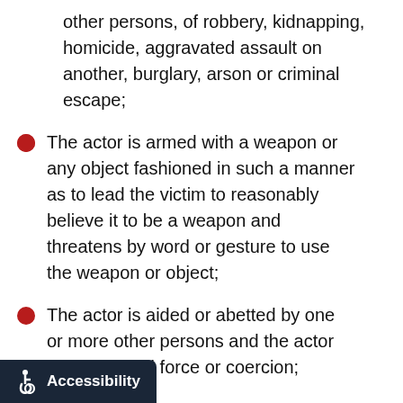other persons, of robbery, kidnapping, homicide, aggravated assault on another, burglary, arson or criminal escape;
The actor is armed with a weapon or any object fashioned in such a manner as to lead the victim to reasonably believe it to be a weapon and threatens by word or gesture to use the weapon or object;
The actor is aided or abetted by one or more other persons and the actor uses physical force or coercion;